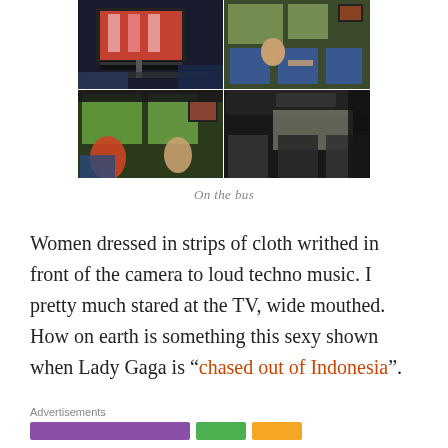[Figure (photo): A 2x2 grid of photos taken inside a bus. Top-left: a TV screen showing women in colorful outfits. Top-right: passengers in bus seats, one leaning forward, with a small TV mounted overhead. Bottom-left: view from bus seat looking out the window, passengers visible. Bottom-right: view looking toward the back of the bus interior with seats and mounted TV.]
On the bus
Women dressed in strips of cloth writhed in front of the camera to loud techno music. I pretty much stared at the TV, wide mouthed. How on earth is something this sexy shown when Lady Gaga is “chased out of Indonesia”.
Advertisements